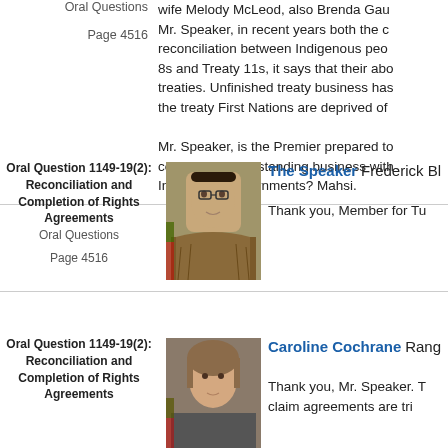Oral Questions
Page 4516
wife Melody McLeod, also Brenda Gau
Mr. Speaker, in recent years both the c... reconciliation between Indigenous peo... 8s and Treaty 11s, it says that their abo... treaties. Unfinished treaty business has... the treaty First Nations are deprived of
Mr. Speaker, is the Premier prepared to... complete the outstanding business with... Indigenous governments? Mahsi.
Oral Question 1149-19(2): Reconciliation and Completion of Rights Agreements
Oral Questions
Page 4516
[Figure (photo): Photo of The Speaker Frederick Blake Jr., wearing traditional Indigenous clothing]
The Speaker  Frederick Bl...
Thank you, Member for Tu...
Oral Question 1149-19(2): Reconciliation and Completion of Rights Agreements
[Figure (photo): Photo of Caroline Cochrane]
Caroline Cochrane  Rang...
Thank you, Mr. Speaker. T... claim agreements are tri...